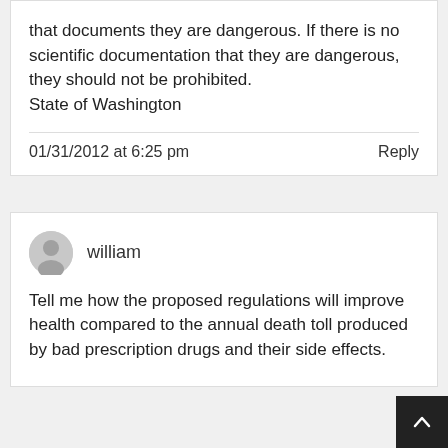that documents they are dangerous. If there is no scientific documentation that they are dangerous, they should not be prohibited.
State of Washington
01/31/2012 at 6:25 pm
Reply
william
Tell me how the proposed regulations will improve health compared to the annual death toll produced by bad prescription drugs and their side effects.